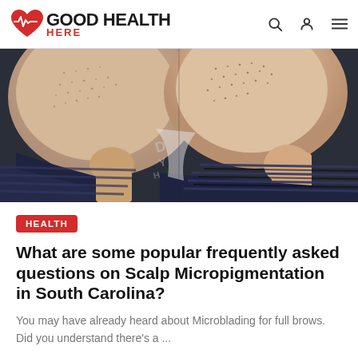GOOD HEALTH HERE
[Figure (photo): Before-and-after style close-up photograph of a man's head showing a scalp with short buzzed hair and visible scalp micropigmentation treatment, viewed from above at an angle. The man is wearing a dark navy striped shirt.]
HEALTH
What are some popular frequently asked questions on Scalp Micropigmentation in South Carolina?
You may have already heard about Microblading for full brows. Did you understand there's a ...